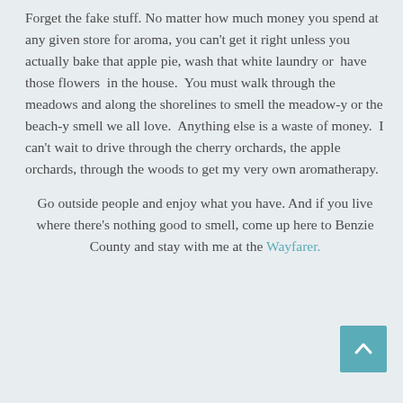Forget the fake stuff. No matter how much money you spend at any given store for aroma, you can't get it right unless you actually bake that apple pie, wash that white laundry or  have those flowers  in the house.  You must walk through the meadows and along the shorelines to smell the meadow-y or the beach-y smell we all love.  Anything else is a waste of money.  I can't wait to drive through the cherry orchards, the apple orchards, through the woods to get my very own aromatherapy.
Go outside people and enjoy what you have. And if you live where there's nothing good to smell, come up here to Benzie County and stay with me at the Wayfarer.